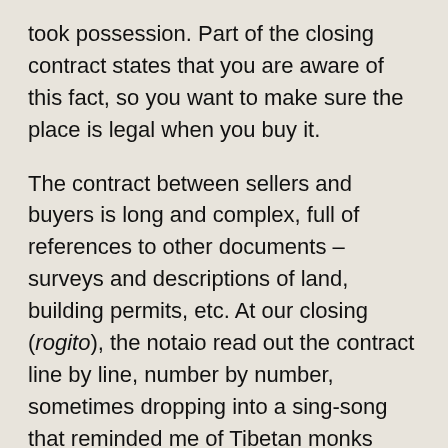took possession. Part of the closing contract states that you are aware of this fact, so you want to make sure the place is legal when you buy it.
The contract between sellers and buyers is long and complex, full of references to other documents – surveys and descriptions of land, building permits, etc. At our closing (rogito), the notaio read out the contract line by line, number by number, sometimes dropping into a sing-song that reminded me of Tibetan monks chanting. He made a few changes and filled in a few blanks; the whole process took about an